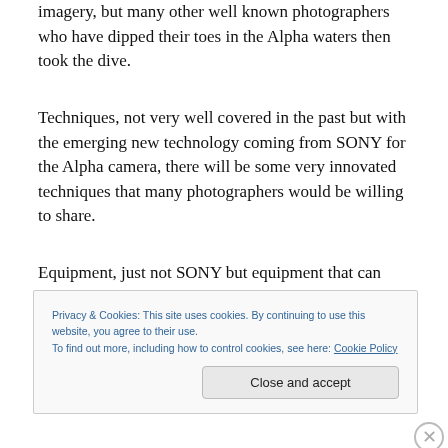imagery, but many other well known photographers who have dipped their toes in the Alpha waters then took the dive.
Techniques, not very well covered in the past but with the emerging new technology coming from SONY for the Alpha camera, there will be some very innovated techniques that many photographers would be willing to share.
Equipment, just not SONY but equipment that can enhance to capture process, and by the way equipment
Privacy & Cookies: This site uses cookies. By continuing to use this website, you agree to their use.
To find out more, including how to control cookies, see here: Cookie Policy